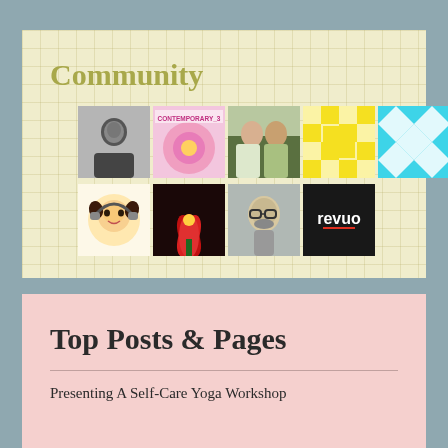Community
[Figure (photo): Grid of community member avatar thumbnails: black-and-white portrait, pink flower with 'CONTEMPORARY_3' text, two women photo, yellow geometric pattern, blue geometric pattern, space/planet photo, anime girl emoji, red flower, illustrated man with glasses, Revuo logo]
Top Posts & Pages
Presenting A Self-Care Yoga Workshop